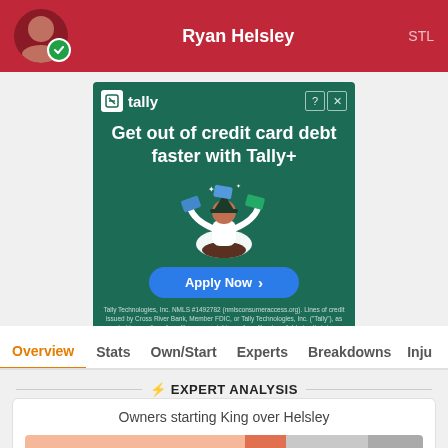Ryan Helsley STL
[Figure (screenshot): Tally advertisement: Get out of credit card debt faster with Tally+. Apply Now button. Green background with illustrated person juggling credit cards in meditation pose. Fine print about Tally Technologies, Inc. NMLS #1492782.]
Overview | Stats | Own/Start | Experts | Breakdowns | Inju
EXPERT ANALYSIS
Owners starting King over Helsley